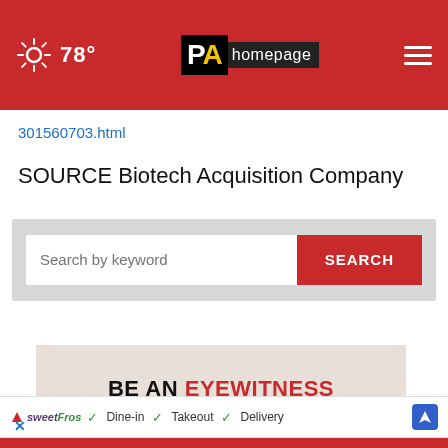78° PA homepage
301560703.html
SOURCE Biotech Acquisition Company
Search by keyword SEARCH
[Figure (screenshot): Advertisement banner: BE AN EYEWITNESS SUBMIT YOUR PHOTOS HER with close button]
[Figure (screenshot): sweetFrog ad bar with Dine-in, Takeout, Delivery checkmarks and navigation icon]